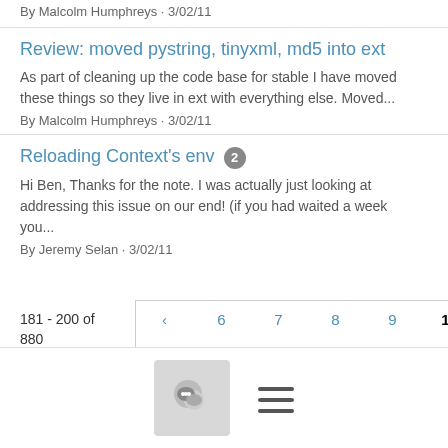By Malcolm Humphreys · 3/02/11
Review: moved pystring, tinyxml, md5 into ext
As part of cleaning up the code base for stable I have moved these things so they live in ext with everything else. Moved...
By Malcolm Humphreys · 3/02/11
Reloading Context's env 2
Hi Ben, Thanks for the note. I was actually just looking at addressing this issue on our end! (if you had waited a week you...
By Jeremy Selan · 3/02/11
181 - 200 of 880
[Figure (other): Pagination controls showing pages 6,7,8,9,10(current),11,12,13,14 with prev/next arrows]
Chat icon button and hamburger menu icon